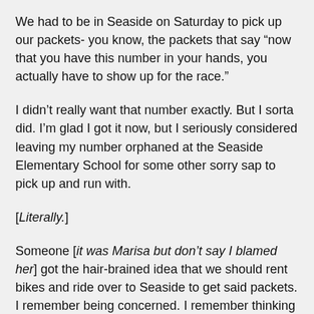We had to be in Seaside on Saturday to pick up our packets- you know, the packets that say “now that you have this number in your hands, you actually have to show up for the race.”
I didn’t really want that number exactly. But I sorta did. I’m glad I got it now, but I seriously considered leaving my number orphaned at the Seaside Elementary School for some other sorry sap to pick up and run with.
[Literally.]
Someone [it was Marisa but don’t say I blamed her] got the hair-brained idea that we should rent bikes and ride over to Seaside to get said packets. I remember being concerned. I remember thinking a bike ride 20 hours before my first half-marathon was not the best